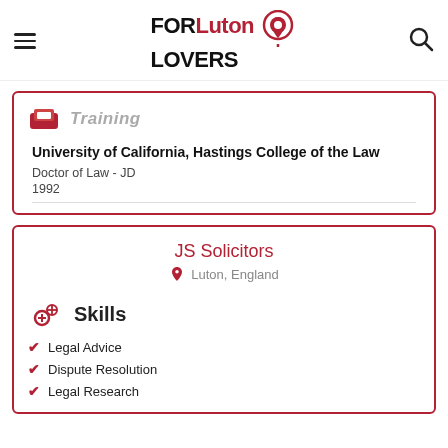FOR Luton LOVERS
Training
University of California, Hastings College of the Law
Doctor of Law - JD
1992
JS Solicitors
Luton, England
Skills
Legal Advice
Dispute Resolution
Legal Research